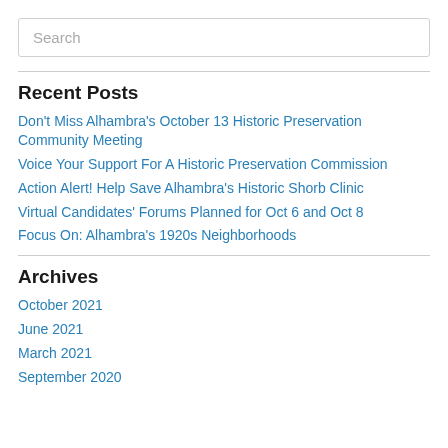Search
Recent Posts
Don't Miss Alhambra's October 13 Historic Preservation Community Meeting
Voice Your Support For A Historic Preservation Commission
Action Alert! Help Save Alhambra's Historic Shorb Clinic
Virtual Candidates' Forums Planned for Oct 6 and Oct 8
Focus On: Alhambra's 1920s Neighborhoods
Archives
October 2021
June 2021
March 2021
September 2020